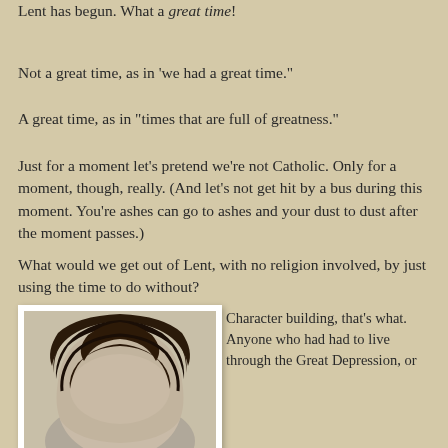Lent has begun. What a great time!
Not a great time, as in 'we had a great time."
A great time, as in "times that are full of greatness."
Just for a moment let's pretend we're not Catholic. Only for a moment, though, really. (And let's not get hit by a bus during this moment. You're ashes can go to ashes and your dust to dust after the moment passes.)
What would we get out of Lent, with no religion involved, by just using the time to do without?
[Figure (photo): Black and white or sepia-toned photo showing the top of a person's head with dark hair, viewed from slightly above.]
Character building, that's what. Anyone who had had to live through the Great Depression, or